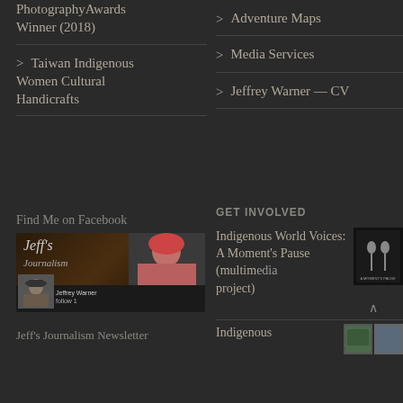PhotographyAwards Winner (2018)
Taiwan Indigenous Women Cultural Handicrafts
Adventure Maps
Media Services
Jeffrey Warner — CV
Find Me on Facebook
[Figure (screenshot): Facebook page banner for Jeff's Journalism showing a woman with red headscarf and Jeff Warner profile photo]
GET INVOLVED
Indigenous World Voices: A Moment's Pause (multimedia project)
[Figure (photo): Book/album cover thumbnail for Indigenous World Voices: A Moment's Pause]
Indigenous
[Figure (photo): Two small thumbnail images for Indigenous item]
Jeff's Journalism Newsletter